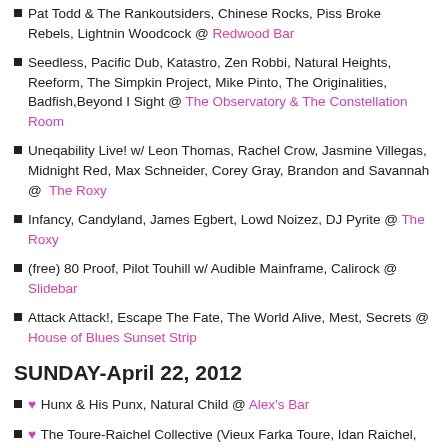Pat Todd & The Rankoutsiders, Chinese Rocks, Piss Broke Rebels, Lightnin Woodcock @ Redwood Bar
Seedless, Pacific Dub, Katastro, Zen Robbi, Natural Heights, Reeform, The Simpkin Project, Mike Pinto, The Originalities, Badfish,Beyond I Sight @ The Observatory & The Constellation Room
Uneqability Live! w/ Leon Thomas, Rachel Crow, Jasmine Villegas, Midnight Red, Max Schneider, Corey Gray, Brandon and Savannah @  The Roxy
Infancy, Candyland, James Egbert, Lowd Noizez, DJ Pyrite @ The Roxy
(free) 80 Proof, Pilot Touhill w/ Audible Mainframe, Calirock @ Slidebar
Attack Attack!, Escape The Fate, The World Alive, Mest, Secrets @ House of Blues Sunset Strip
SUNDAY-April 22, 2012
♥ Hunx & His Punx, Natural Child @ Alex's Bar
♥ The Toure-Raichel Collective (Vieux Farka Toure, Idan Raichel, Badmarsh @ Echo (and)